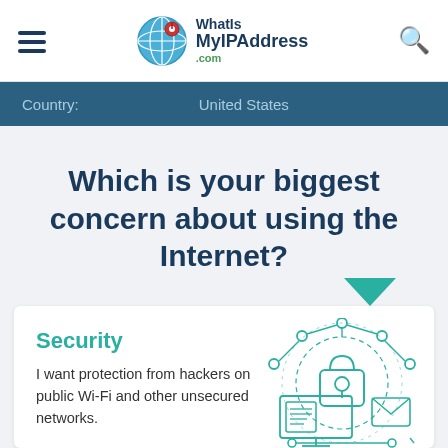WhatIsMyIPAddress.com
Country: United States
Which is your biggest concern about using the Internet?
Security
I want protection from hackers on public Wi-Fi and other unsecured networks.
[Figure (illustration): Teal line-art illustration of a security concept: a padlock in the center connected to document, envelope, and computer monitor icons, surrounded by dashed circles and network nodes]